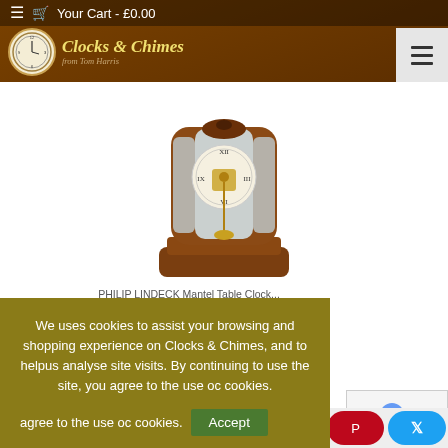Your Cart - £0.00
[Figure (logo): Clocks & Chimes from Tom Harris logo with clock face icon]
[Figure (photo): A wooden mantel/table clock with glass panels showing the internal mechanism and pendulum, in a mahogany-colored case]
We uses cookies to assist your browsing and shopping experience on Clocks & Chimes, and to helpus analyse site visits. By continuing to use the site, you agree to the use oc cookies.
Accept
Cookies Policy